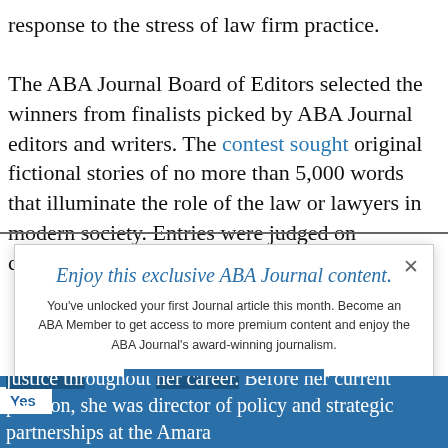response to the stress of law firm practice.
The ABA Journal Board of Editors selected the winners from finalists picked by ABA Journal editors and writers. The contest sought original fictional stories of no more than 5,000 words that illuminate the role of the law or lawyers in modern society. Entries were judged on creativity, plot exposition, legal
[Figure (screenshot): Modal dialog overlay: 'Enjoy this exclusive ABA Journal content.' with JOIN NOW button and 'Already an ABA Member? Sign in' link. Has an X close button.]
justice throughout her career. Before her current position, she was director of policy and strategic partnerships at the Amara